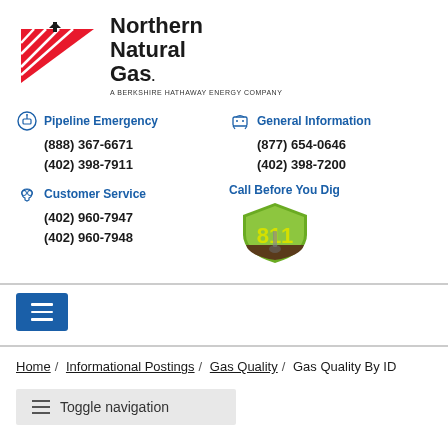[Figure (logo): Northern Natural Gas logo — red triangle with white diagonal lines on left, bold text 'Northern Natural Gas.' with tagline 'A Berkshire Hathaway Energy Company']
Pipeline Emergency
(888) 367-6671
(402) 398-7911
General Information
(877) 654-0646
(402) 398-7200
Customer Service
(402) 960-7947
(402) 960-7948
Call Before You Dig
[Figure (logo): 811 Call Before You Dig badge logo — yellow/green shield shape with '811' text and shovel icon]
[Figure (other): Blue hamburger menu button (navigation toggle)]
Home / Informational Postings / Gas Quality / Gas Quality By ID
Toggle navigation
Gas Quality By / Gas Quality...